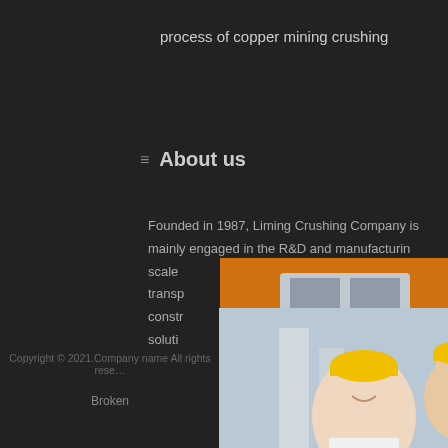process of copper mining crushing
About us
Founded in 1987, Liming Crushing Company is mainly engaged in the R&D and manufacturing of large-scale transportation and construction solutions.
[Figure (screenshot): Live chat popup with a smiling woman and workers in hard hats, LIVE CHAT heading, Click for a Free Consultation subheading, Chat now and Chat later buttons]
[Figure (screenshot): Right sidebar with orange background showing mining machinery images, Enjoy 3% discount, Click to Chat, Enquiry, and limingjImofen@sina.com contact info]
Copyright © 2021.Company name All rights reserved
Broken